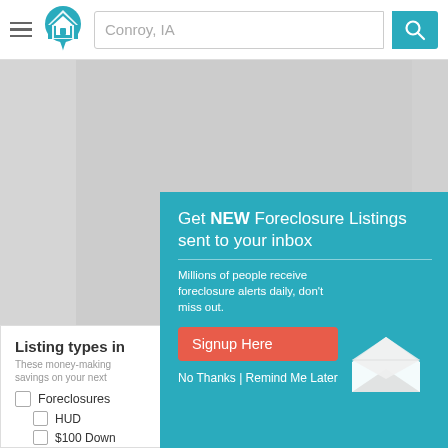Conroy, IA — search bar with logo and hamburger menu
[Figure (screenshot): Map area showing Conroy, IA region, grayed out placeholder]
Listing types in
These money-making savings on your next
Foreclosures
HUD
$100 Down
[Figure (infographic): Teal popup overlay: Get NEW Foreclosure Listings sent to your inbox. Millions of people receive foreclosure alerts daily, don't miss out. Signup Here button. No Thanks | Remind Me Later. Envelope icon.]